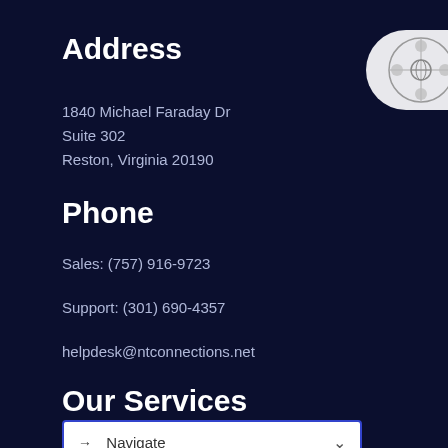Address
1840 Michael Faraday Dr
Suite 302
Reston, Virginia 20190
[Figure (logo): Circular logo with globe/network icons on a light gray rounded badge partially visible on the right edge]
Phone
Sales: (757) 916-9723
Support: (301) 690-4357
helpdesk@ntconnections.net
Our Services
→ Navigate